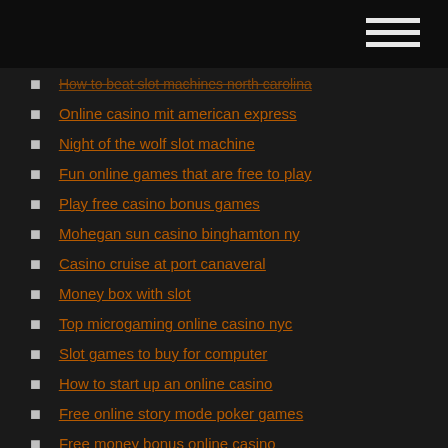How to beat slot machines north carolina
Online casino mit american express
Night of the wolf slot machine
Fun online games that are free to play
Play free casino bonus games
Mohegan sun casino binghamton ny
Casino cruise at port canaveral
Money box with slot
Top microgaming online casino nyc
Slot games to buy for computer
How to start up an online casino
Free online story mode poker games
Free money bonus online casino
The goonies free online
Denver casino shuttle and rocks